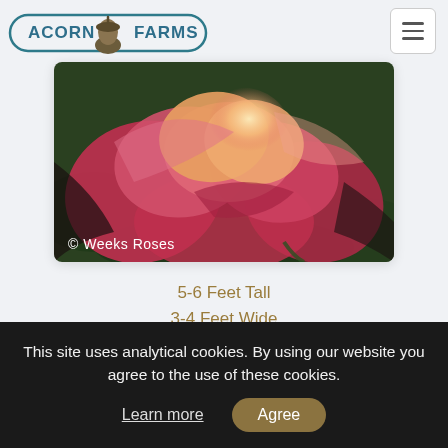Acorn Farms
[Figure (photo): Close-up photo of a pink and yellow rose bloom with green background. Watermark reads '© Weeks Roses' at bottom left.]
5-6 Feet Tall
3-4 Feet Wide
Protected Series:
This site uses analytical cookies. By using our website you agree to the use of these cookies.
Learn more
Agree